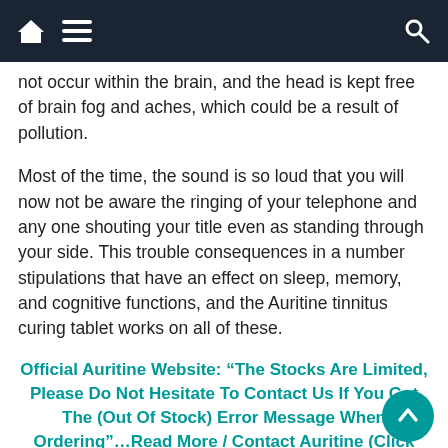Navigation bar with home, menu, and search icons
not occur within the brain, and the head is kept free of brain fog and aches, which could be a result of pollution.
Most of the time, the sound is so loud that you will now not be aware the ringing of your telephone and any one shouting your title even as standing through your side. This trouble consequences in a number stipulations that have an effect on sleep, memory, and cognitive functions, and the Auritine tinnitus curing tablet works on all of these.
Official Auritine Website: “The Stocks Are Limited, Please Do Not Hesitate To Contact Us If You Got The (Out Of Stock) Error Message When Ordering”…Read More / Contact Auritine (Click Here)
Who is the manufacturer of Auritine?